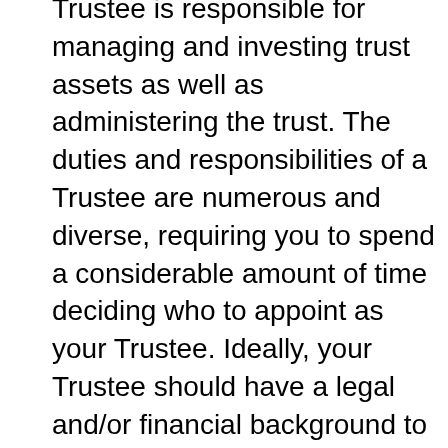Trustee is responsible for managing and investing trust assets as well as administering the trust. The duties and responsibilities of a Trustee are numerous and diverse, requiring you to spend a considerable amount of time deciding who to appoint as your Trustee. Ideally, your Trustee should have a legal and/or financial background to ensure that he/she is capable of administering the trust successfully. Depending on the size and complexity of your trust, choosing a professional Trustee may be your best option.
Draft the trust agreement. In the internet age, it can be tempting to try and go it alone using DIY legal forms found online. In the long run, doing so is likely to cost you and your loved ones a considerable amount of time and money. Instead, allow your estate...